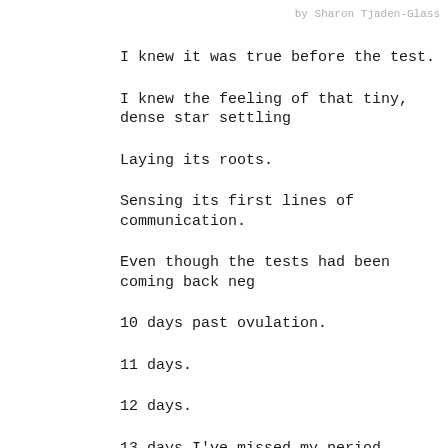by Sharon Tjaden-Glass
I knew it was true before the test.
I knew the feeling of that tiny, dense star settling
Laying its roots.
Sensing its first lines of communication.
Even though the tests had been coming back neg
10 days past ovulation.
11 days.
12 days.
13 days–I've missed my period.
14 days.